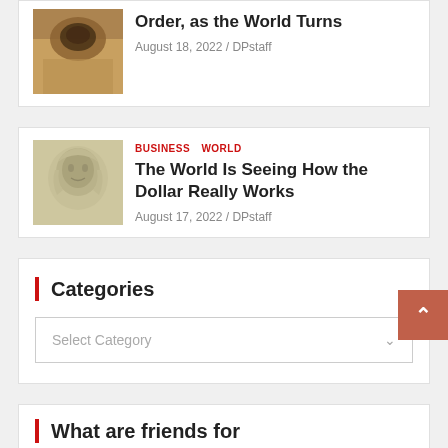[Figure (photo): Partial article card at top with thumbnail image (animal/wood scene)]
Order, as the World Turns
August 18, 2022 / DPstaff
[Figure (photo): George Washington on dollar bill thumbnail]
BUSINESS  WORLD
The World Is Seeing How the Dollar Really Works
August 17, 2022 / DPstaff
Categories
Select Category
What are friends for
Media error: Format(s) not supported or source(s) not found
Download File: http://dasparder.com/wp-content/uploads/2022/08/what-a-friends...